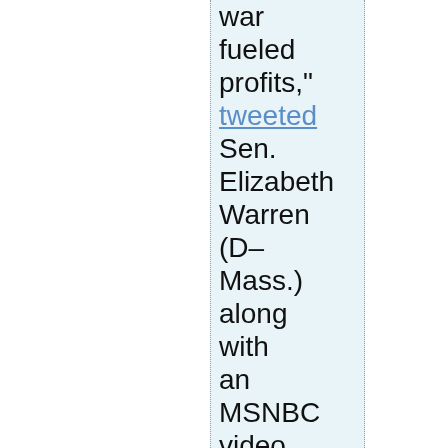war fueled profits," tweeted Sen. Elizabeth Warren (D–Mass.) along with an MSNBC video of her explaining her stance. "Senate Democrats are